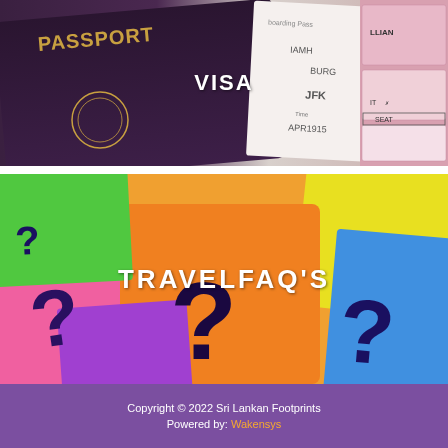[Figure (photo): Passport and boarding pass with airport/flight info visible, overlapping documents, text VISA overlaid in center]
[Figure (photo): Colorful sticky notes with question marks drawn on them, text TRAVELFAQ'S overlaid in center]
Copyright © 2022 Sri Lankan Footprints
Powered by: Wakensys